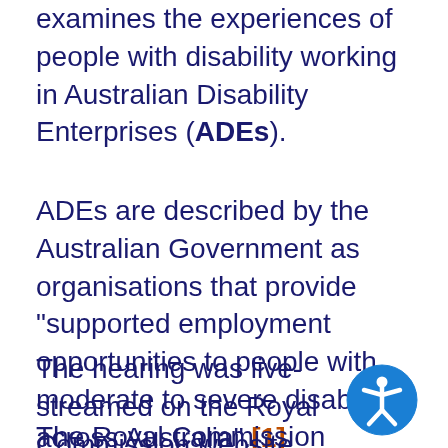examines the experiences of people with disability working in Australian Disability Enterprises (ADEs).
ADEs are described by the Australian Government as organisations that provide "supported employment opportunities to people with moderate to severe disability across Australia".[1]
The hearing was live-streamed on the Royal Commission website.
The Royal Commission examined the
[Figure (illustration): Accessibility icon: blue circle with white human figure with arms and legs outstretched]